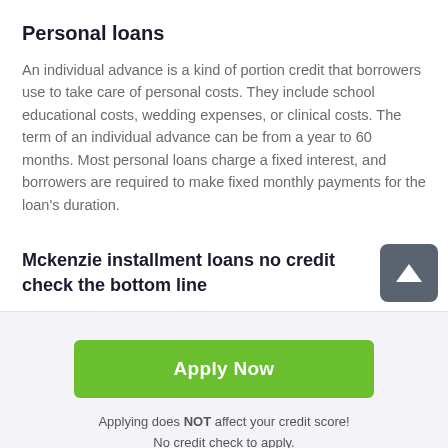Personal loans
An individual advance is a kind of portion credit that borrowers use to take care of personal costs. They include school educational costs, wedding expenses, or clinical costs. The term of an individual advance can be from a year to 60 months. Most personal loans charge a fixed interest, and borrowers are required to make fixed monthly payments for the loan's duration.
Mckenzie installment loans no credit check the bottom line
[Figure (other): Scroll to top button with upward arrow icon, dark gray rounded square]
Apply Now
Applying does NOT affect your credit score!
No credit check to apply.